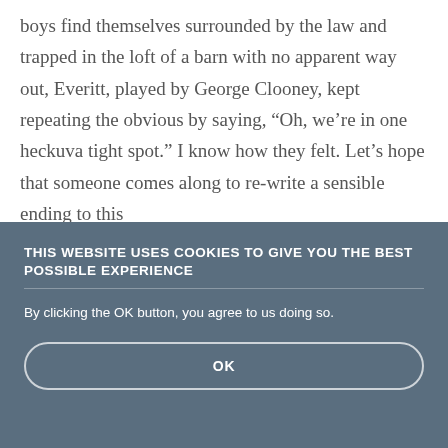boys find themselves surrounded by the law and trapped in the loft of a barn with no apparent way out, Everitt, played by George Clooney, kept repeating the obvious by saying, “Oh, we’re in one heckuva tight spot.” I know how they felt. Let’s hope that someone comes along to re-write a sensible ending to this
THIS WEBSITE USES COOKIES TO GIVE YOU THE BEST POSSIBLE EXPERIENCE
By clicking the OK button, you agree to us doing so.